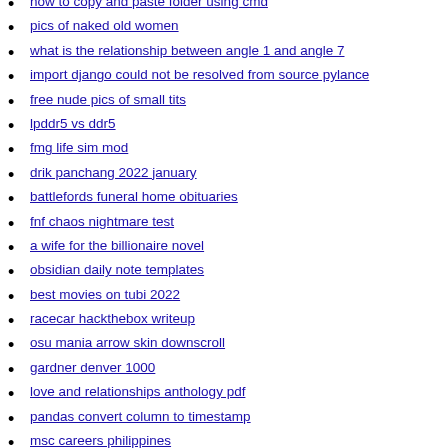how to copy and paste folder using cmd
pics of naked old women
what is the relationship between angle 1 and angle 7
import django could not be resolved from source pylance
free nude pics of small tits
lpddr5 vs ddr5
fmg life sim mod
drik panchang 2022 january
battlefords funeral home obituaries
fnf chaos nightmare test
a wife for the billionaire novel
obsidian daily note templates
best movies on tubi 2022
racecar hackthebox writeup
osu mania arrow skin downscroll
gardner denver 1000
love and relationships anthology pdf
pandas convert column to timestamp
msc careers philippines
super smash flash 3 online
video one porn com
how to trick a bill validator
coloplast genesis before and after pictures
kaiju universe script pastebin
specify which government interventions cause a consumer or...